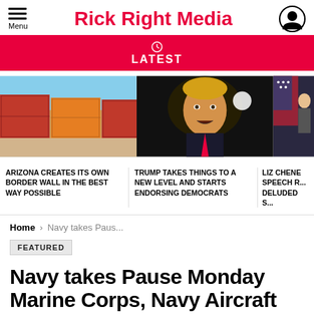Rick Right Media
LATEST
[Figure (photo): Three news article thumbnail images in a horizontal row: shipping containers acting as border wall, Donald Trump speaking at podium, partial image of a person near a flag]
ARIZONA CREATES ITS OWN BORDER WALL IN THE BEST WAY POSSIBLE
TRUMP TAKES THINGS TO A NEW LEVEL AND STARTS ENDORSING DEMOCRATS
LIZ CHENE... SPEECH R... DELUDED S...
Home › Navy takes Paus...
FEATURED
Navy takes Pause Monday Marine Corps, Navy Aircraft Crashes
2 months ago